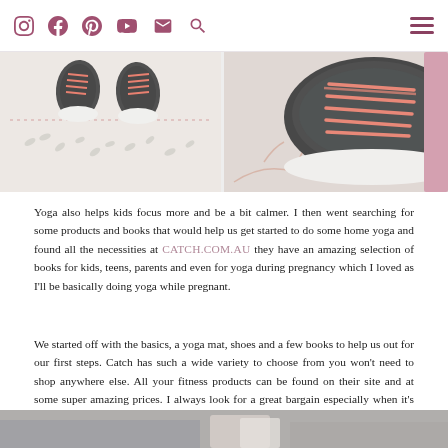Social media icons and hamburger menu
[Figure (photo): Two photos side by side showing gray athletic shoes with coral/pink laces on a decorative mat with leaf patterns]
Yoga also helps kids focus more and be a bit calmer. I then went searching for some products and books that would help us get started to do some home yoga and found all the necessities at CATCH.COM.AU they have an amazing selection of books for kids, teens, parents and even for yoga during pregnancy which I loved as I'll be basically doing yoga while pregnant.
We started off with the basics, a yoga mat, shoes and a few books to help us out for our first steps. Catch has such a wide variety to choose from you won't need to shop anywhere else. All your fitness products can be found on their site and at some super amazing prices. I always look for a great bargain especially when it's on branded products.
[Figure (photo): Partial photo at bottom of page showing yoga/fitness items]